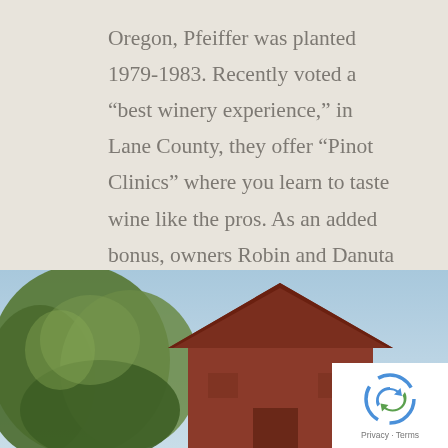Oregon, Pfeiffer was planted 1979-1983. Recently voted a “best winery experience,” in Lane County, they offer “Pinot Clinics” where you learn to taste wine like the pros. As an added bonus, owners Robin and Danuta Pfeiffer are always in the tasting room on weekends to greet you.
[Figure (photo): Outdoor photo showing a red barn on the right side and green trees on the left, against a light blue sky. A reCAPTCHA badge with Privacy and Terms links is overlaid in the bottom-right corner.]